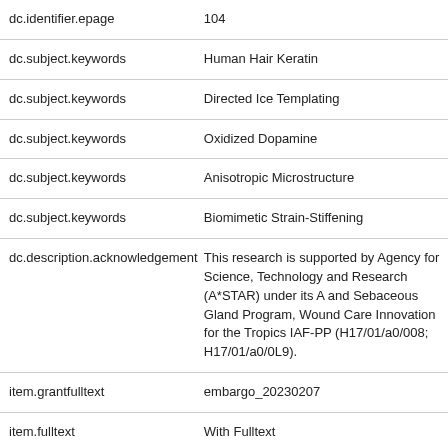| Field | Value |
| --- | --- |
| dc.identifier.epage | 104 |
| dc.subject.keywords | Human Hair Keratin |
| dc.subject.keywords | Directed Ice Templating |
| dc.subject.keywords | Oxidized Dopamine |
| dc.subject.keywords | Anisotropic Microstructure |
| dc.subject.keywords | Biomimetic Strain-Stiffening |
| dc.description.acknowledgement | This research is supported by Agency for Science, Technology and Research (A*STAR) under its A and Sebaceous Gland Program, Wound Care Innovation for the Tropics IAF-PP (H17/01/a0/008; H17/01/a0/0L9). |
| item.grantfulltext | embargo_20230207 |
| item.fulltext | With Fulltext |